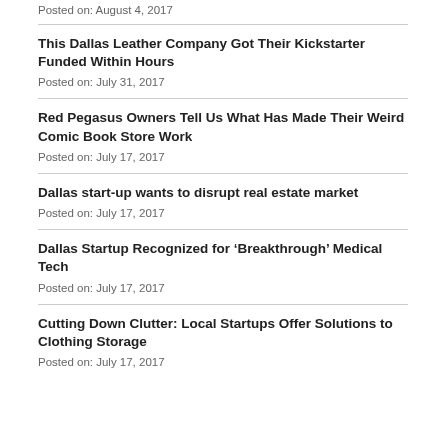Posted on: August 4, 2017
This Dallas Leather Company Got Their Kickstarter Funded Within Hours
Posted on: July 31, 2017
Red Pegasus Owners Tell Us What Has Made Their Weird Comic Book Store Work
Posted on: July 17, 2017
Dallas start-up wants to disrupt real estate market
Posted on: July 17, 2017
Dallas Startup Recognized for ‘Breakthrough’ Medical Tech
Posted on: July 17, 2017
Cutting Down Clutter: Local Startups Offer Solutions to Clothing Storage
Posted on: July 17, 2017